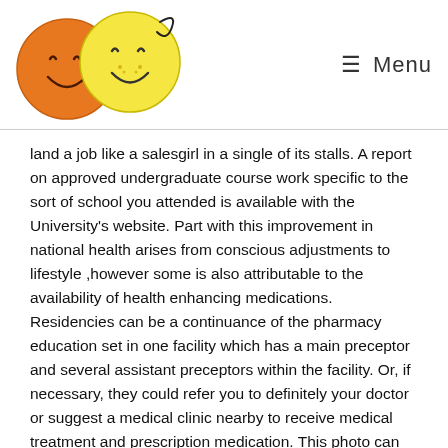[Figure (logo): Two cartoon smiley face characters — one orange and one yellow — forming a logo]
≡ Menu
land a job like a salesgirl in a single of its stalls. A report on approved undergraduate course work specific to the sort of school you attended is available with the University's website. Part with this improvement in national health arises from conscious adjustments to lifestyle ,however some is also attributable to the availability of health enhancing medications. Residencies can be a continuance of the pharmacy education set in one facility which has a main preceptor and several assistant preceptors within the facility. Or, if necessary, they could refer you to definitely your doctor or suggest a medical clinic nearby to receive medical treatment and prescription medication. This photo can be a page that fraudsters are maintaining. Also, look to the bargain table near the front of the store filled with items approximately 50 percent over regular price. Insurance is confusing first of all, additionally it is